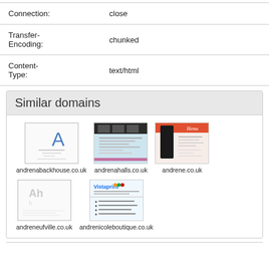| Connection: | close |
| Transfer-Encoding: | chunked |
| Content-Type: | text/html |
Similar domains
[Figure (screenshot): Thumbnail screenshot of andrenabackhouse.co.uk – white background with blue A logo]
andrenabackhouse.co.uk
[Figure (screenshot): Thumbnail screenshot of andrenahalls.co.uk – blue/light background with dark header]
andrenahalls.co.uk
[Figure (screenshot): Thumbnail screenshot of andrene.co.uk – warm pink/red header with woman in black dress]
andrene.co.uk
[Figure (screenshot): Thumbnail screenshot of andreneufville.co.uk – white background with text]
andreneufville.co.uk
[Figure (screenshot): Thumbnail screenshot of andrenicoleboutique.co.uk – Vistaprint website builder page]
andrenicoleboutique.co.uk